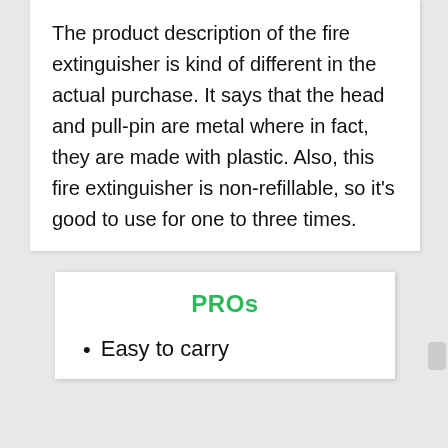The product description of the fire extinguisher is kind of different in the actual purchase. It says that the head and pull-pin are metal where in fact, they are made with plastic. Also, this fire extinguisher is non-refillable, so it's good to use for one to three times.
PROs
Easy to carry